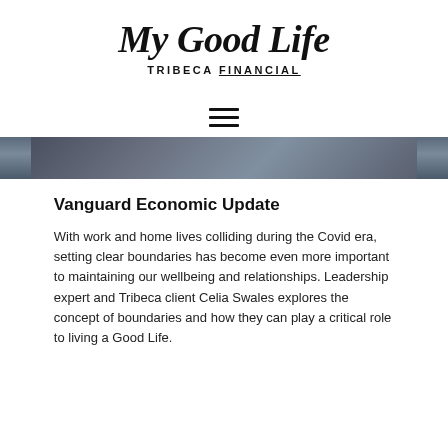[Figure (logo): My Good Life – Tribeca Financial logo with handwritten script text 'My Good Life' above bold uppercase text 'TRIBECA FINANCIAL']
[Figure (other): Hamburger menu icon with three horizontal lines]
[Figure (photo): Partial photo strip showing a dark blue/grey image, partially cropped]
Vanguard Economic Update
With work and home lives colliding during the Covid era, setting clear boundaries has become even more important to maintaining our wellbeing and relationships. Leadership expert and Tribeca client Celia Swales explores the concept of boundaries and how they can play a critical role to living a Good Life.